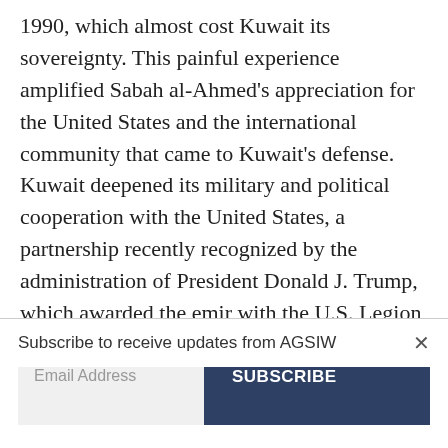1990, which almost cost Kuwait its sovereignty. This painful experience amplified Sabah al-Ahmed's appreciation for the United States and the international community that came to Kuwait's defense. Kuwait deepened its military and political cooperation with the United States, a partnership recently recognized by the administration of President Donald J. Trump, which awarded the emir with the U.S. Legion of Merit, Degree Chief
Subscribe to receive updates from AGSIW
Email Address
SUBSCRIBE